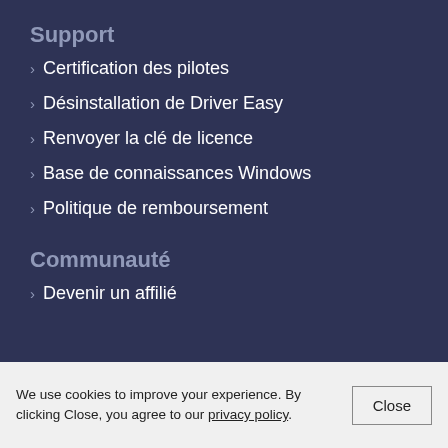Support
› Certification des pilotes
› Désinstallation de Driver Easy
› Renvoyer la clé de licence
› Base de connaissances Windows
› Politique de remboursement
Communauté
› Devenir un affilié
We use cookies to improve your experience. By clicking Close, you agree to our privacy policy.